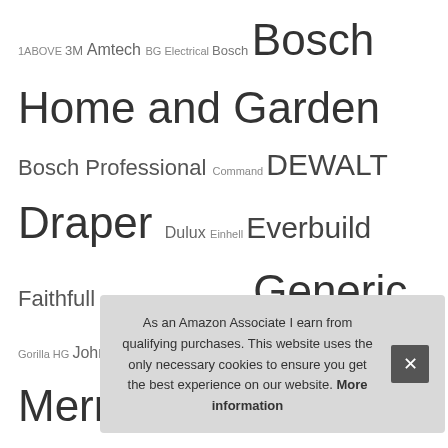1ABOVE 3M Amtech BG Electrical Bosch Bosch Home and Garden Bosch Professional Command DEWALT Draper Dulux Einhell Everbuild Faithfull Falcon Workshop Supplies Ltd Generic Gorilla HG Johnstone's Knightsbridge Kärcher Makita Merriway NA OX Tools Rolson RONSEAL Rust-Oleum Ryobi SabreCut Sealey Silverline Sourcingmap sourcing map Stanley Sterling TREND Unibond Unknown VonHaus White Hinge WORKPRO XFORT Yale Zerodis
Recent Posts
T...
T...
Top 9 Locks for Doors Inside House UK – Latches & Bolts
As an Amazon Associate I earn from qualifying purchases. This website uses the only necessary cookies to ensure you get the best experience on our website. More information